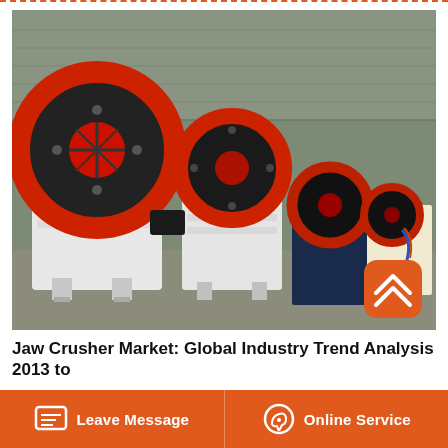[Figure (photo): Row of white and red jaw crusher machines lined up in an industrial warehouse or factory floor, with large red and black flywheels visible. A blue machine and cream-colored machines appear in the background. An orange scroll-to-top button is overlaid in the bottom-right corner of the image.]
Jaw Crusher Market: Global Industry Trend Analysis 2013 to
Leave Message  |  Online Service